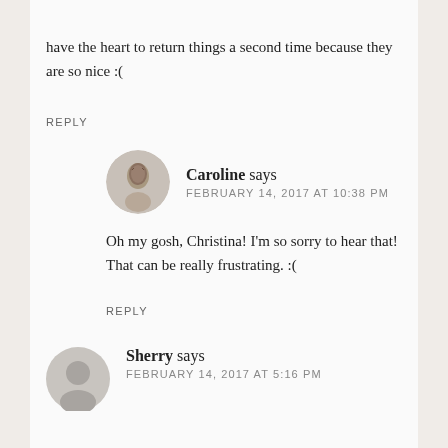have the heart to return things a second time because they are so nice :(
REPLY
Caroline says
FEBRUARY 14, 2017 AT 10:38 PM
[Figure (photo): Circular avatar photo of Caroline, a woman with dark hair]
Oh my gosh, Christina! I’m so sorry to hear that! That can be really frustrating. :(
REPLY
[Figure (illustration): Generic gray circular avatar placeholder for Sherry]
Sherry says
FEBRUARY 14, 2017 AT 5:16 PM